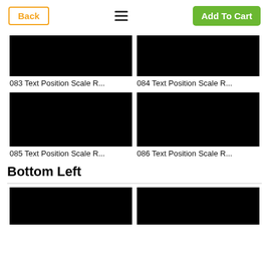Back | Menu | Add To Cart
[Figure (screenshot): Black thumbnail image for item 083]
083 Text Position Scale R...
[Figure (screenshot): Black thumbnail image for item 084]
084 Text Position Scale R...
[Figure (screenshot): Black thumbnail image for item 085]
085 Text Position Scale R...
[Figure (screenshot): Black thumbnail image for item 086]
086 Text Position Scale R...
Bottom Left
[Figure (screenshot): Black thumbnail image partially visible at bottom]
[Figure (screenshot): Black thumbnail image partially visible at bottom]